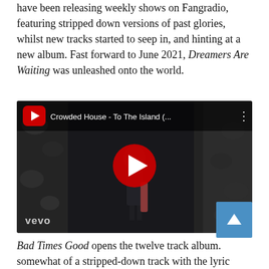have been releasing weekly shows on Fangradio, featuring stripped down versions of past glories, whilst new tracks started to seep in, and hinting at a new album. Fast forward to June 2021, Dreamers Are Waiting was unleashed onto the world.
[Figure (screenshot): YouTube/Vevo embedded video player showing Crowded House - To The Island (... with a dark scene of a person standing in a narrow rocky passage, with a red YouTube play button overlay and vevo logo in the bottom left.]
Bad Times Good opens the twelve track album. somewhat of a stripped-down track with the lyric